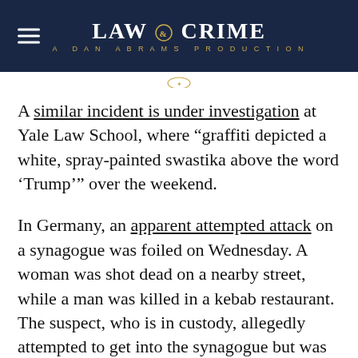LAW & CRIME
A DAN ABRAMS PRODUCTION
A similar incident is under investigation at Yale Law School, where “graffiti depicted a white, spray-painted swastika above the word ‘Trump’” over the weekend.
In Germany, an apparent attempted attack on a synagogue was foiled on Wednesday. A woman was shot dead on a nearby street, while a man was killed in a kebab restaurant. The suspect, who is in custody, allegedly attempted to get into the synagogue but was not successful.
[…